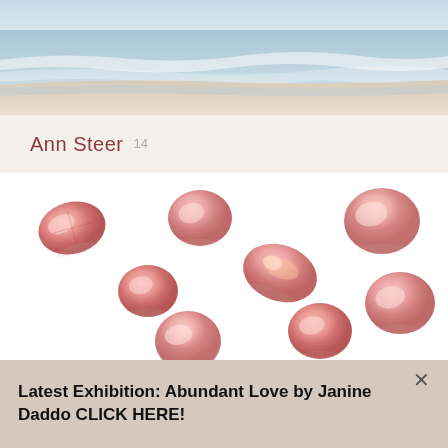[Figure (photo): Beach scene painting showing ocean waves and sandy shore with soft blue and beige tones]
Ann Steer  14
[Figure (photo): Eight round-cut pink diamonds scattered on a white background, photographed from above with soft reflections]
Latest Exhibition: Abundant Love by Janine Daddo CLICK HERE!